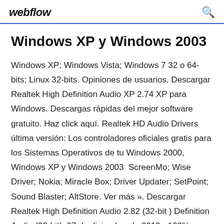webflow
Windows XP y Windows 2003
Windows XP; Windows Vista; Windows 7 32 o 64-bits; Linux 32-bits. Opiniones de usuarios. Descargar Realtek High Definition Audio XP 2.74 XP para Windows. Descargas rápidas del mejor software gratuito. Haz click aquí. Realtek HD Audio Drivers última versión: Los controladores oficiales gratis para los Sistemas Operativos de tu Windows 2000, Windows XP y Windows 2003  ScreenMo; Wise Driver; Nokia; Miracle Box; Driver Updater; SetPoint; Sound Blaster; AltStore. Ver más ». Descargar Realtek High Definition Audio 2.82 (32-bit ) Definition Audio (32-bit). 07 de diciembre de 2019 - 100%